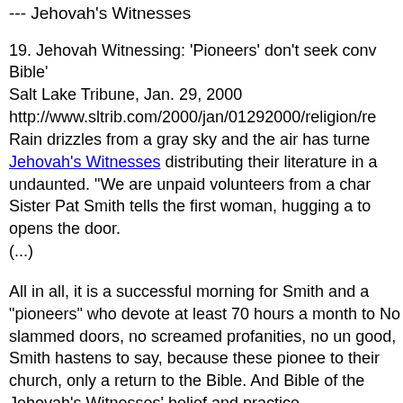--- Jehovah's Witnesses
19. Jehovah Witnessing: 'Pioneers' don't seek conv Bible'
Salt Lake Tribune, Jan. 29, 2000
http://www.sltrib.com/2000/jan/01292000/religion/re
Rain drizzles from a gray sky and the air has turne Jehovah's Witnesses distributing their literature in a undaunted. "We are unpaid volunteers from a char Sister Pat Smith tells the first woman, hugging a to opens the door.
(...)

All in all, it is a successful morning for Smith and a "pioneers" who devote at least 70 hours a month to No slammed doors, no screamed profanities, no un good, Smith hastens to say, because these pionee to their church, only a return to the Bible. And Bible of the Jehovah's Witnesses' belief and practice.
(...)

Today the church has more than six million membe